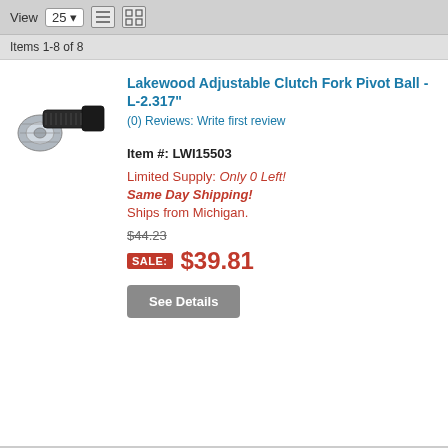View 25 [dropdown] [list icon] [grid icon]
Items 1-8 of 8
[Figure (photo): Photo of a Lakewood adjustable clutch fork pivot ball hardware item - black bolt with silver nut]
Lakewood Adjustable Clutch Fork Pivot Ball - L-2.317"
(0) Reviews: Write first review
Item #: LWI15503
Limited Supply: Only 0 Left!
Same Day Shipping!
Ships from Michigan.
$44.23
SALE: $39.81
See Details